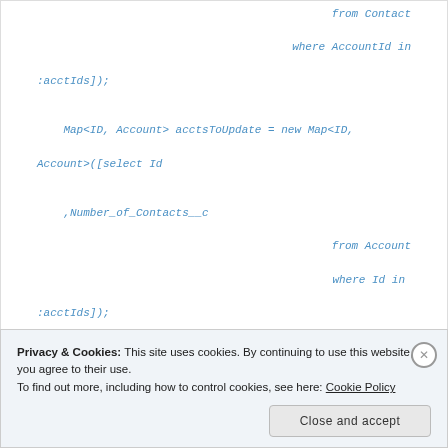from Contact

    where AccountId in

:acctIds]);

    Map<ID, Account> acctsToUpdate = new Map<ID,

Account>([select Id

    ,Number_of_Contacts__c

                              from Account

                              where Id in

:acctIds]);
Privacy & Cookies: This site uses cookies. By continuing to use this website, you agree to their use.
To find out more, including how to control cookies, see here: Cookie Policy
Close and accept